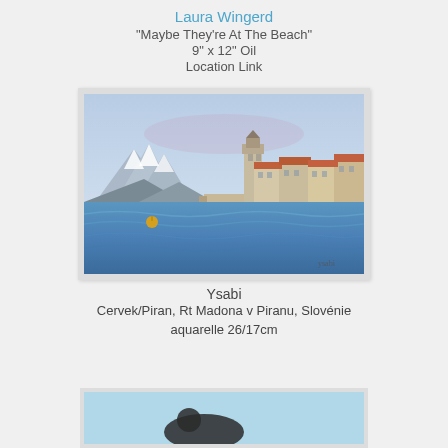Laura Wingerd
"Maybe They're At The Beach"
9" x 12" Oil
Location Link
[Figure (illustration): Watercolor/oil painting of coastal town with buildings featuring orange/red roofs, a church bell tower, blue sea water in foreground with a small buoy, and snow-capped mountains in background. Artist signature 'ysabi' visible bottom right.]
Ysabi
Cervek/Piran, Rt Madona v Piranu, Slovénie
aquarelle 26/17cm
[Figure (illustration): Bottom partial view of another artwork, appears to show an animal or nature scene with blue/teal background.]